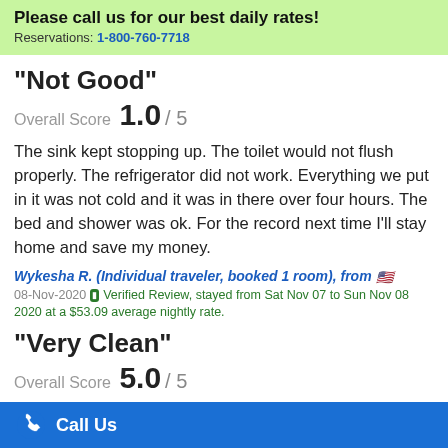Please call us for our best daily rates! Reservations: 1-800-760-7718
"Not Good"
Overall Score 1.0 / 5
The sink kept stopping up. The toilet would not flush properly. The refrigerator did not work. Everything we put in it was not cold and it was in there over four hours. The bed and shower was ok. For the record next time I'll stay home and save my money.
Wykesha R. (Individual traveler, booked 1 room), from 🇺🇸
08-Nov-2020 ✓ Verified Review, stayed from Sat Nov 07 to Sun Nov 08 2020 at a $53.09 average nightly rate.
"Very Clean"
Overall Score 5.0 / 5
Call Us